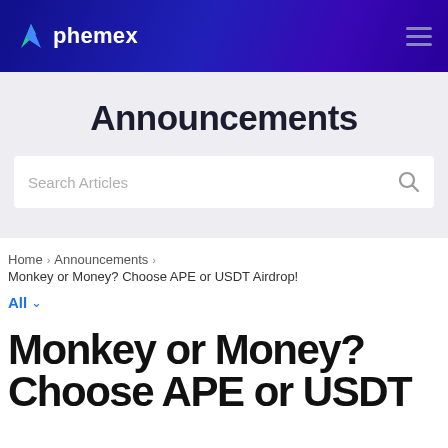phemex
Announcements
Search Articles
Home > Announcements > Monkey or Money? Choose APE or USDT Airdrop!
All
Monkey or Money? Choose APE or USDT